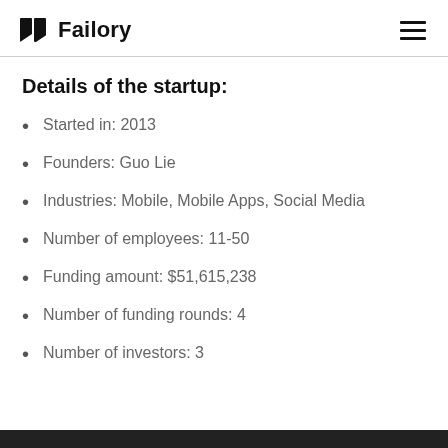Failory
Details of the startup:
Started in: 2013
Founders: Guo Lie
Industries: Mobile, Mobile Apps, Social Media
Number of employees: 11-50
Funding amount: $51,615,238
Number of funding rounds: 4
Number of investors: 3